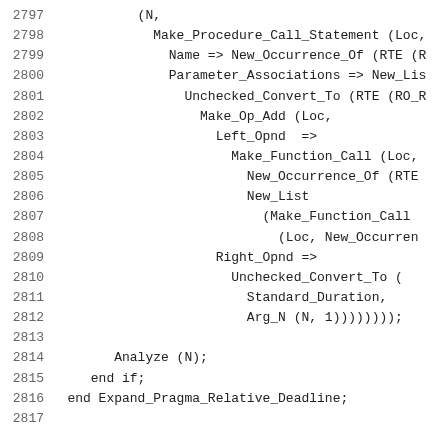Source code lines 2797-2817 showing Ada/compiler code for Expand_Pragma_Relative_Deadline procedure with Make_Procedure_Call_Statement, Make_Op_Add, Make_Function_Call, Analyze, end if, end Expand_Pragma_Relative_Deadline.